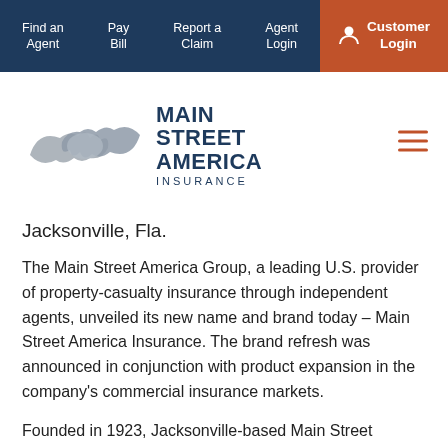Find an Agent | Pay Bill | Report a Claim | Agent Login | Customer Login
[Figure (logo): Main Street America Insurance logo with two handshaking hands graphic and bold text reading MAIN STREET AMERICA INSURANCE]
Jacksonville, Fla.
The Main Street America Group, a leading U.S. provider of property-casualty insurance through independent agents, unveiled its new name and brand today – Main Street America Insurance. The brand refresh was announced in conjunction with product expansion in the company's commercial insurance markets.
Founded in 1923, Jacksonville-based Main Street